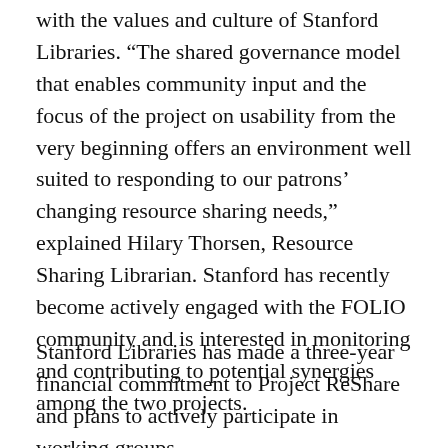with the values and culture of Stanford Libraries. “The shared governance model that enables community input and the focus of the project on usability from the very beginning offers an environment well suited to responding to our patrons’ changing resource sharing needs,” explained Hilary Thorsen, Resource Sharing Librarian. Stanford has recently become actively engaged with the FOLIO community and is interested in monitoring and contributing to potential synergies among the two projects.
Stanford Libraries has made a three-year financial commitment to Project ReShare and plans to actively participate in working groups